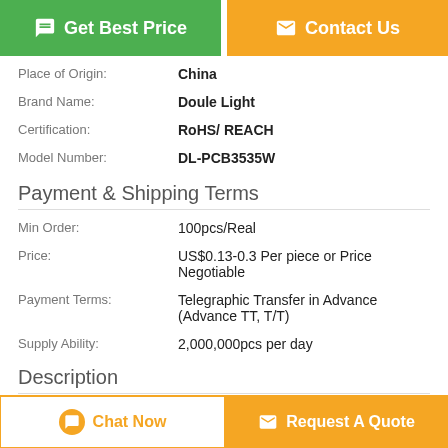[Figure (other): Two buttons: 'Get Best Price' (green) and 'Contact Us' (orange)]
| Place of Origin: | China |
| Brand Name: | Doule Light |
| Certification: | RoHS/ REACH |
| Model Number: | DL-PCB3535W |
Payment & Shipping Terms
| Min Order: | 100pcs/Real |
| Price: | US$0.13-0.3 Per piece or Price Negotiable |
| Payment Terms: | Telegraphic Transfer in Advance (Advance TT, T/T) |
| Supply Ability: | 2,000,000pcs per day |
Description
White SMD LED
[Figure (other): Two bottom buttons: 'Chat Now' (white/orange border) and 'Request A Quote' (orange)]